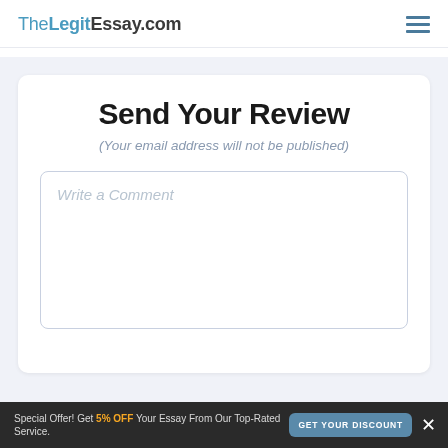TheLegitEssay.com
Send Your Review
(Your email address will not be published)
Write a Comment
Special Offer! Get 5% OFF Your Essay From Our Top-Rated Service.